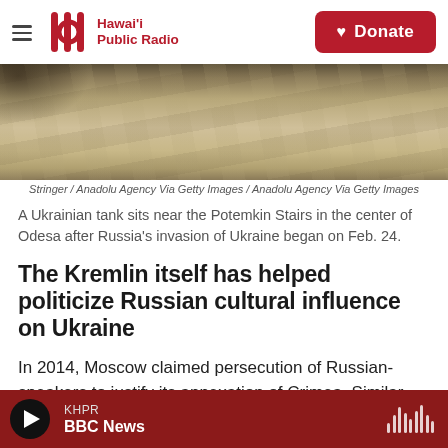Hawai'i Public Radio — Donate
[Figure (photo): Overhead view of stone or concrete paving blocks (the Potemkin Stairs area in Odesa), with a slight shadow at the top left.]
Stringer / Anadolu Agency Via Getty Images / Anadolu Agency Via Getty Images
A Ukrainian tank sits near the Potemkin Stairs in the center of Odesa after Russia's invasion of Ukraine began on Feb. 24.
The Kremlin itself has helped politicize Russian cultural influence on Ukraine
In 2014, Moscow claimed persecution of Russian-speakers to justify its annexation of Crimea. Similar claims have formed the basis of the current wave of
KHPR BBC News